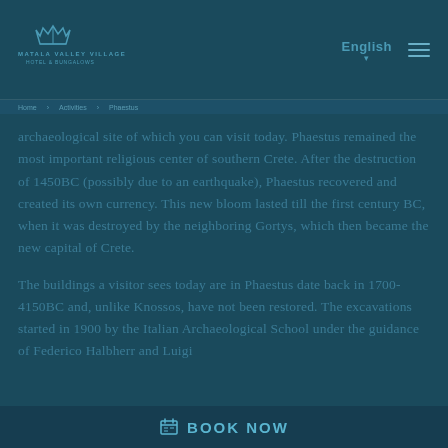Matala Valley Village Hotel & Bungalows | English
archaeological site of which you can visit today. Phaestus remained the most important religious center of southern Crete. After the destruction of 1450BC (possibly due to an earthquake), Phaestus recovered and created its own currency. This new bloom lasted till the first century BC, when it was destroyed by the neighboring Gortys, which then became the new capital of Crete.
The buildings a visitor sees today are in Phaestus date back in 1700-4150BC and, unlike Knossos, have not been restored. The excavations started in 1900 by the Italian Archaeological School under the guidance of Federico Halbherr and Luigi
BOOK NOW